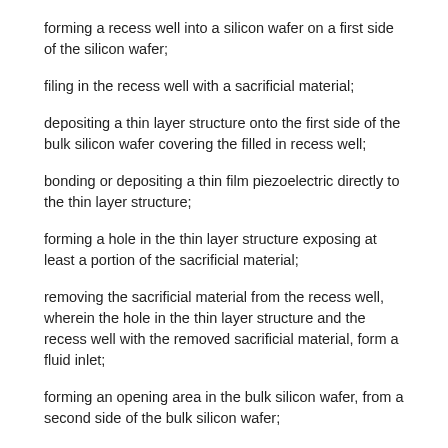forming a recess well into a silicon wafer on a first side of the silicon wafer;
filing in the recess well with a sacrificial material;
depositing a thin layer structure onto the first side of the bulk silicon wafer covering the filled in recess well;
bonding or depositing a thin film piezoelectric directly to the thin layer structure;
forming a hole in the thin layer structure exposing at least a portion of the sacrificial material;
removing the sacrificial material from the recess well, wherein the hole in the thin layer structure and the recess well with the removed sacrificial material, form a fluid inlet;
forming an opening area in the bulk silicon wafer, from a second side of the bulk silicon wafer;
forming a nozzle plate having a recessed portion and an aperture within the recessed portion;
attaching the nozzle plate to the second side of the bulk